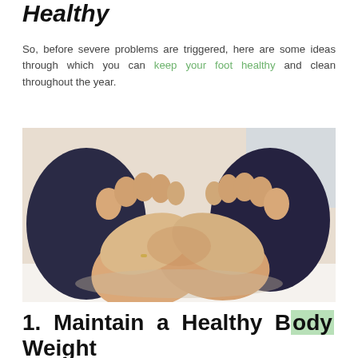Healthy
So, before severe problems are triggered, here are some ideas through which you can keep your foot healthy and clean throughout the year.
[Figure (photo): Person sitting on a bed holding and examining the soles of their feet, wearing dark leggings, with a light blurred background.]
1. Maintain a Healthy Body Weight